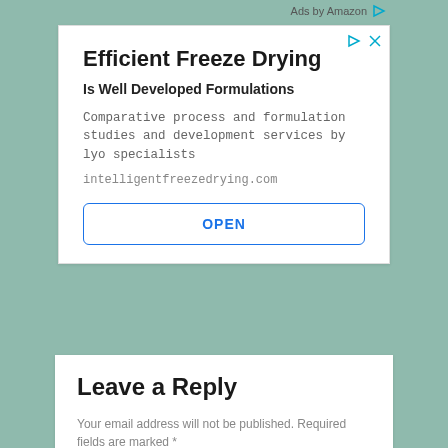Ads by Amazon
[Figure (infographic): Advertisement box for 'Efficient Freeze Drying – Is Well Developed Formulations'. Contains title, subtitle, body text about comparative process and formulation studies, URL intelligentfreezedrying.com, and an OPEN button.]
Leave a Reply
Your email address will not be published. Required fields are marked *